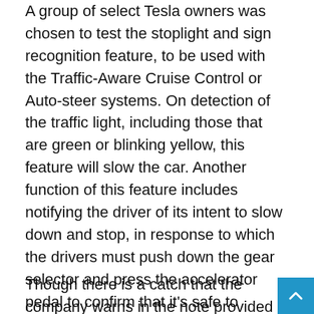A group of select Tesla owners was chosen to test the stoplight and sign recognition feature, to be used with the Traffic-Aware Cruise Control or Auto-steer systems. On detection of the traffic light, including those that are green or blinking yellow, this feature will slow the car. Another function of this feature includes notifying the driver of its intent to slow down and stop, in response to which the drivers must push down the gear selector and press the accelerator pedal to confirm that it's safe to proceed. Tesla restates in these notes that the Autopilot won't execute turns and will not control for all intersections.
Though there is a catch that the company warns in the note provided to the Associated Press that drivers must pay attention and be ready to take immediate action. The system may fail by not stopping for all traffic controls so the driver may be needed to be ready to brake if the situation demands so. The note also states that the system learns constantly